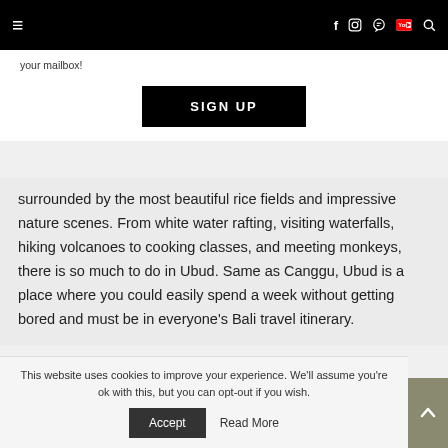≡  [social icons: f, instagram, pinterest, youtube, search]
your mailbox!
SIGN UP
surrounded by the most beautiful rice fields and impressive nature scenes. From white water rafting, visiting waterfalls, hiking volcanoes to cooking classes, and meeting monkeys, there is so much to do in Ubud. Same as Canggu, Ubud is a place where you could easily spend a week without getting bored and must be in everyone's Bali travel itinerary.
This website uses cookies to improve your experience. We'll assume you're ok with this, but you can opt-out if you wish.
Accept   Read More